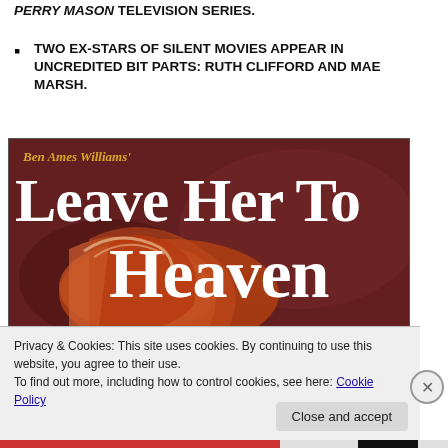PERRY MASON TELEVISION SERIES.
TWO EX-STARS OF SILENT MOVIES APPEAR IN UNCREDITED BIT PARTS: RUTH CLIFFORD AND MAE MARSH.
[Figure (illustration): Book cover of 'Leave Her To Heaven' by Ben Ames Williams, showing large white serif text over a dark red/maroon background with an illustration of a woman's flowing auburn hair.]
Privacy & Cookies: This site uses cookies. By continuing to use this website, you agree to their use.
To find out more, including how to control cookies, see here: Cookie Policy